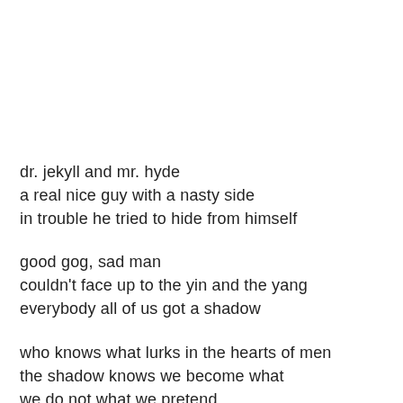dr. jekyll and mr. hyde
a real nice guy with a nasty side
in trouble he tried to hide from himself
good gog, sad man
couldn't face up to the yin and the yang
everybody all of us got a shadow
who knows what lurks in the hearts of men
the shadow knows we become what
we do not what we pretend